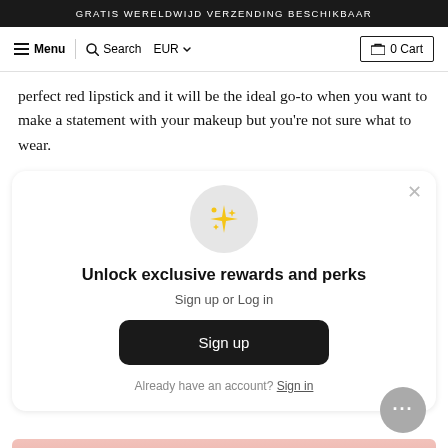GRATIS WERELDWIJD VERZENDING BESCHIKBAAR
Menu | Search | EUR | 0 Cart
perfect red lipstick and it will be the ideal go-to when you want to make a statement with your makeup but you're not sure what to wear.
[Figure (screenshot): Modal popup: sparkle icon in circle, heading 'Unlock exclusive rewards and perks', subtext 'Sign up or Log in', black sign up button, 'Already have an account? Sign in' link, close X button, and a circular chat button at bottom right.]